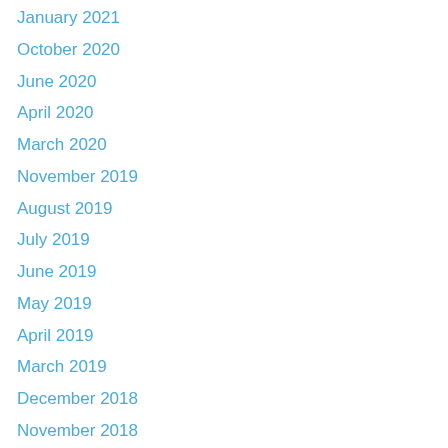January 2021
October 2020
June 2020
April 2020
March 2020
November 2019
August 2019
July 2019
June 2019
May 2019
April 2019
March 2019
December 2018
November 2018
August 2018
July 2018
June 2018
May 2018
April 2018
March 2018